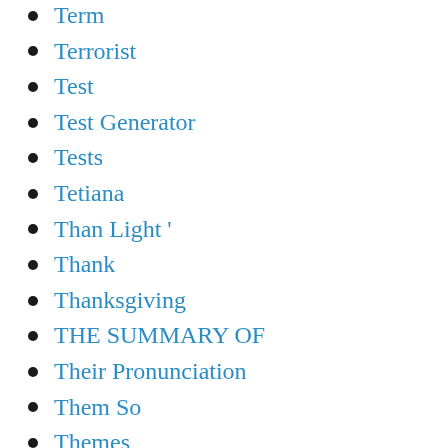Term
Terrorist
Test
Test Generator
Tests
Tetiana
Than Light '
Thank
Thanksgiving
THE SUMMARY OF
Their Pronunciation
Them So
Themes
Things
Thinking
Thomas Was Alone
Three Long